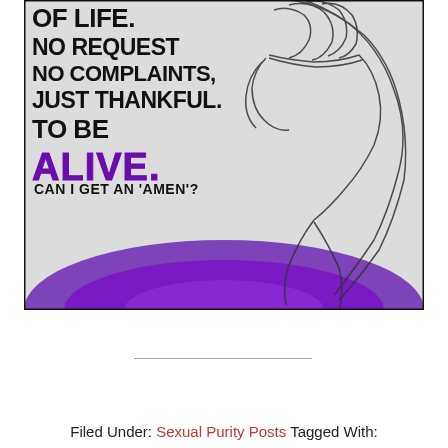[Figure (illustration): Motivational graphic with black stencil-style text on light background reading 'OF LIFE. NO REQUEST NO COMPLAINTS JUST THANKFUL TO BE' followed by 'ALIVE.' in large purple bold text and 'CAN I GET AN AMEN?' in black. Background shows line-art sketch of praying/clasped hands. Purple radial glow effect at bottom.]
Filed Under: Sexual Purity Posts Tagged With: